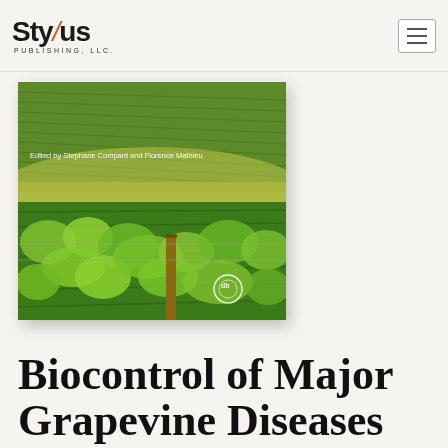[Figure (logo): Stylus Publishing, LLC logo with stylized slash/pen mark in orange]
[Figure (photo): Book cover of 'Biocontrol of Major Grapevine Diseases' showing aerial view of vineyard rows on hillside with green vines and wooden post in foreground. Edited by Stephane Compant and Florence Mathieu. Published by CABI.]
Biocontrol of Major Grapevine Diseases